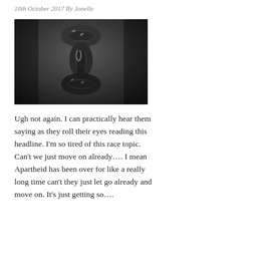10th October 2017 By Jonelle
[Figure (photo): Black and white close-up photograph of metal chain links hanging vertically against a blurred dark background.]
Ugh not again. I can practically hear them saying as they roll their eyes reading this headline. I'm so tired of this race topic. Can't we just move on already…. I mean Apartheid has been over for like a really long time can't they just let go already and move on. It's just getting so….